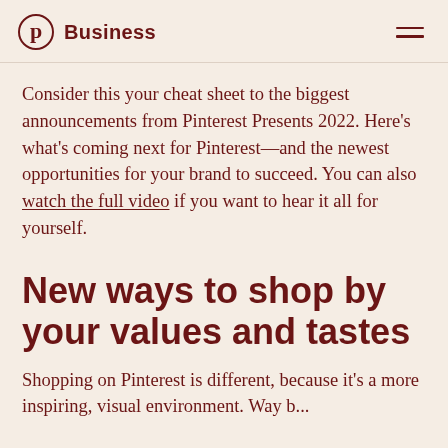Pinterest Business
Consider this your cheat sheet to the biggest announcements from Pinterest Presents 2022. Here's what's coming next for Pinterest—and the newest opportunities for your brand to succeed. You can also watch the full video if you want to hear it all for yourself.
New ways to shop by your values and tastes
Shopping on Pinterest is different, because it's a more inspiring, visual environment. Way b...